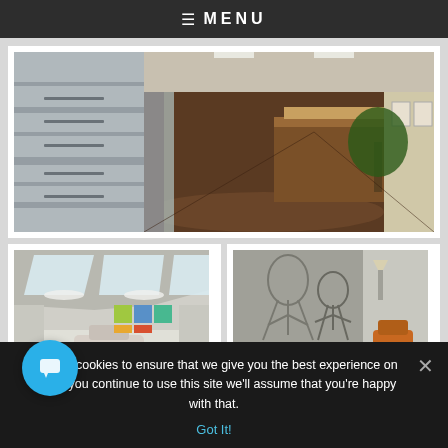≡ MENU
[Figure (photo): Interior photo of a dental/medical office hallway with frosted glass panels on the left, dark wood flooring, reception desk area with plants visible]
[Figure (photo): Interior photo of a dental/medical treatment room with angled ceiling, skylights, colorful artwork on wall, dental chair]
[Figure (photo): Interior photo showing decorative wall art with human figure sketches, orange dental chair visible]
We use cookies to ensure that we give you the best experience on site. If you continue to use this site we'll assume that you're happy with that.
Got It!